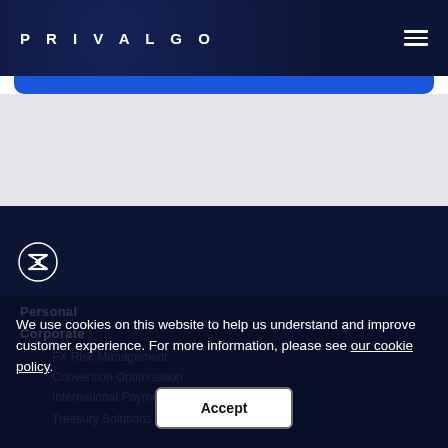PRIVALGO
[Figure (logo): Privalgo double-chevron/Z icon in white circle outline on dark navy background]
Personal
Corporate
FX Risk Management
Conversion Optimisation
International Payments
Treasury Solutions
We use cookies on this website to help us understand and improve customer experience. For more information, please see our cookie policy.